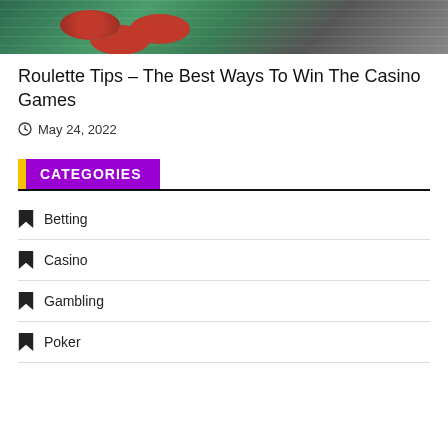[Figure (photo): Casino roulette table with chips, green felt surface, viewed from above]
Roulette Tips – The Best Ways To Win The Casino Games
May 24, 2022
CATEGORIES
Betting
Casino
Gambling
Poker